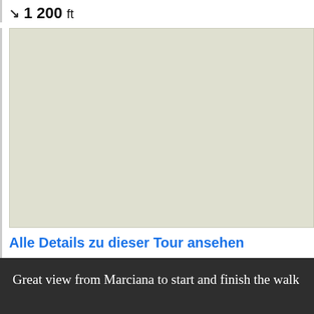1 200 ft
[Figure (map): Map placeholder showing a beige/olive colored terrain map area]
Alle Details zu dieser Tour ansehen
Great view from Marciana to start and finish the walk